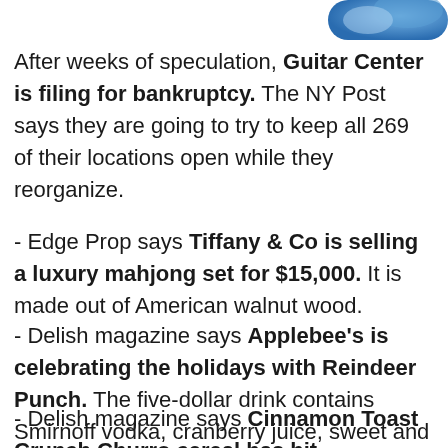[Figure (other): Partial image visible in top-right corner, blue and white colors, cropped]
After weeks of speculation, Guitar Center is filing for bankruptcy. The NY Post says they are going to try to keep all 269 of their locations open while they reorganize.
- Edge Prop says Tiffany & Co is selling a luxury mahjong set for $15,000. It is made out of American walnut wood.
- Delish magazine says Applebee's is celebrating the holidays with Reindeer Punch. The five-dollar drink contains Smirnoff vodka, cranberry juice, sweet and sour and cherries.
- Delish magazine says Cinnamon Toast Crunch Churro cereal has hit...